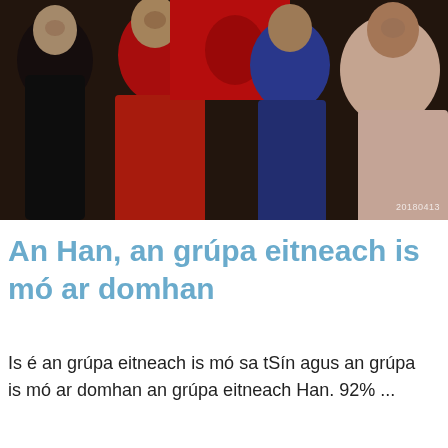[Figure (photo): Group of smiling Asian people, some wearing red and blue clothing, appearing to celebrate or gather together. Photo has a watermark '20180413' in the bottom right corner.]
An Han, an grúpa eitneach is mó ar domhan
Is é an grúpa eitneach is mó sa tSín agus an grúpa is mó ar domhan an grúpa eitneach Han. 92% ...